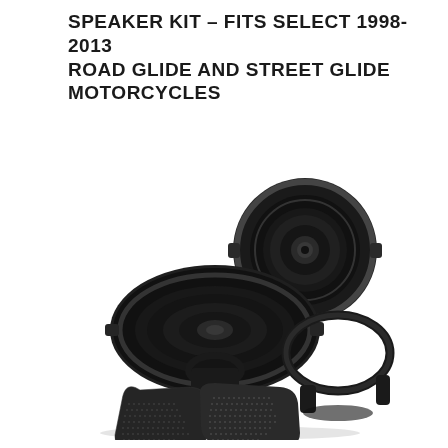SPEAKER KIT – FITS SELECT 1998-2013 ROAD GLIDE AND STREET GLIDE MOTORCYCLES
[Figure (photo): Product photo of a motorcycle speaker kit including two black speakers (one oval, one round), speaker mounting brackets/grilles, and speaker enclosures with mesh grilles, all shown against a white background.]